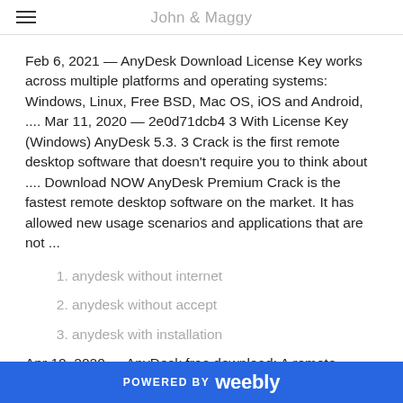John & Maggy
Feb 6, 2021 — AnyDesk Download License Key works across multiple platforms and operating systems: Windows, Linux, Free BSD, Mac OS, iOS and Android, .... Mar 11, 2020 — 2e0d71dcb4 3 With License Key (Windows) AnyDesk 5.3. 3 Crack is the first remote desktop software that doesn't require you to think about .... Download NOW AnyDesk Premium Crack is the fastest remote desktop software on the market. It has allowed new usage scenarios and applications that are not ...
anydesk without internet
anydesk without accept
anydesk with installation
Apr 10, 2020 — AnyDesk free download: A remote desktop software that allows you to connect multiple computers to
POWERED BY weebly